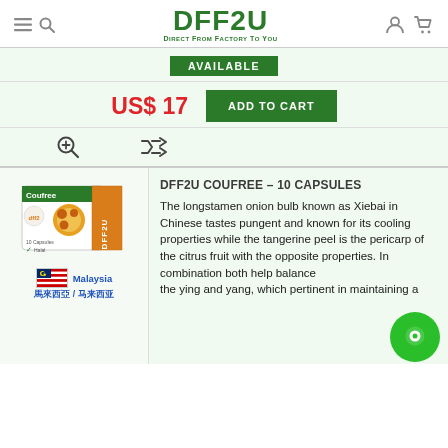DFF2U — Direct From Factory To You
AVAILABLE
US$ 17
ADD TO CART
[Figure (photo): Coufree product box with DFF2U branding and an orange/citrus graphic, alongside a Malaysia flag and text '馬來西亞 / 马来西亚']
DFF2U COUFREE – 10 CAPSULES
The longstamen onion bulb known as Xiebai in Chinese tastes pungent and known for its cooling properties while the tangerine peel is the pericarp of the citrus fruit with the opposite properties. In combination both help balance
the ying and yang, which pertinent in maintaining a